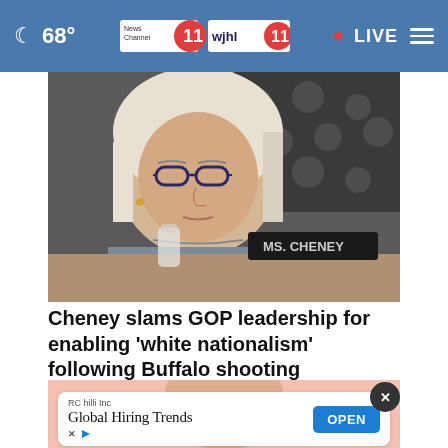68° News Channel 11 wjhl 11 • LIVE
[Figure (photo): Woman with glasses and blonde hair seated at a congressional committee hearing, with an American flag in the background and a nameplate visible]
Cheney slams GOP leadership for enabling 'white nationalism' following Buffalo shooting
[Figure (photo): Partial view of a person, cropped, with a pink background — partially obscured by an advertisement overlay]
RC hilli Inc
Global Hiring Trends
OPEN